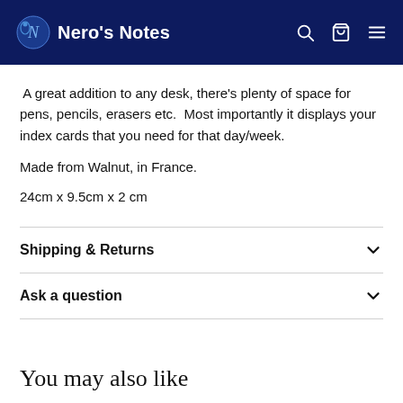Nero's Notes
A great addition to any desk, there's plenty of space for pens, pencils, erasers etc.  Most importantly it displays your index cards that you need for that day/week.
Made from Walnut, in France.
24cm x 9.5cm x 2 cm
Shipping & Returns
Ask a question
You may also like